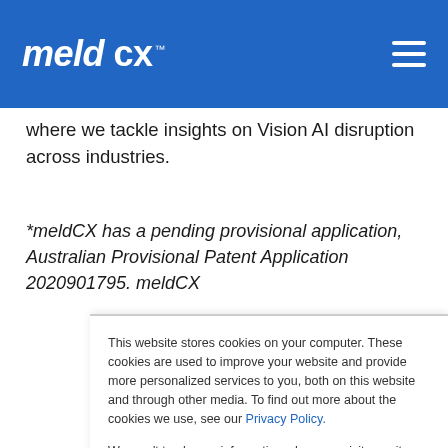meld CX™ [navigation menu icon]
where we tackle insights on Vision AI disruption across industries.
*meldCX has a pending provisional application, Australian Provisional Patent Application 2020901795. meldCX
This website stores cookies on your computer. These cookies are used to improve your website and provide more personalized services to you, both on this website and through other media. To find out more about the cookies we use, see our Privacy Policy.
We won't track your information when you visit our site. But in order to comply with your preferences, we'll have to use just one tiny cookie so that you're not asked to make this choice again.
Settings   Accept   Decline